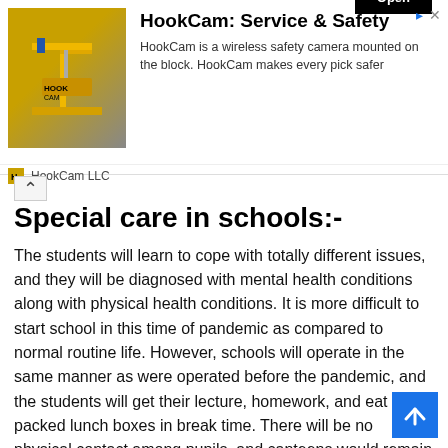[Figure (infographic): HookCam advertisement banner with yellow construction crane image, title 'HookCam: Service & Safety', description text, Open button, HookCam LLC footer with logo, and navigation arrows]
Special care in schools:-
The students will learn to cope with totally different issues, and they will be diagnosed with mental health conditions along with physical health conditions. It is more difficult to start school in this time of pandemic as compared to normal routine life. However, schools will operate in the same manner as were operated before the pandemic, and the students will get their lecture, homework, and eat their packed lunch boxes in break time. There will be no physical contact among pupils, and canteens would remain closed for pupils' well-being. Every student will be checked for temperature regularly and trained for frequent hand-washing practices.
Educational compensations:-